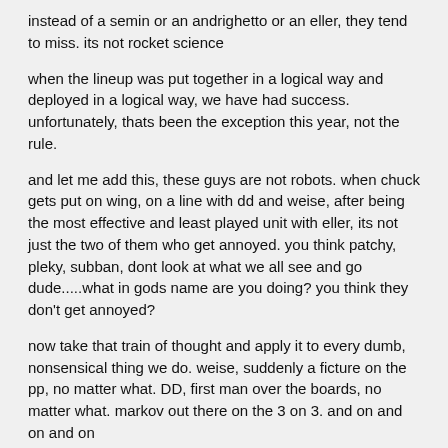instead of a semin or an andrighetto or an eller, they tend to miss. its not rocket science
when the lineup was put together in a logical way and deployed in a logical way, we have had success. unfortunately, thats been the exception this year, not the rule.
and let me add this, these guys are not robots. when chuck gets put on wing, on a line with dd and weise, after being the most effective and least played unit with eller, its not just the two of them who get annoyed. you think patchy, pleky, subban, dont look at what we all see and go dude.....what in gods name are you doing? you think they don't get annoyed?
now take that train of thought and apply it to every dumb, nonsensical thing we do. weise, suddenly a ficture on the pp, no matter what. DD, first man over the boards, no matter what. markov out there on the 3 on 3. and on and on and on
I have been reading a lot of diplomatic garbage in the habs media about how historically coaching changes dont make huge differences, and sentimentality for therrien's record, and our captain sticking up for him (no kidding he's "phenomenal", you don't lose a second of ice time no